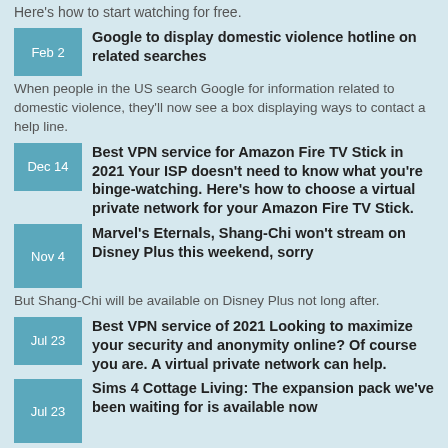Here's how to start watching for free.
Feb 2 | Google to display domestic violence hotline on related searches
When people in the US search Google for information related to domestic violence, they'll now see a box displaying ways to contact a help line.
Dec 14 | Best VPN service for Amazon Fire TV Stick in 2021
Your ISP doesn't need to know what you're binge-watching. Here's how to choose a virtual private network for your Amazon Fire TV Stick.
Nov 4 | Marvel's Eternals, Shang-Chi won't stream on Disney Plus this weekend, sorry
But Shang-Chi will be available on Disney Plus not long after.
Jul 23 | Best VPN service of 2021
Looking to maximize your security and anonymity online? Of course you are. A virtual private network can help.
Jul 23 | Sims 4 Cottage Living: The expansion pack we've been waiting for is available now
We went hands-on with the cozy Sims 4 DLC that will make you fall in love with the game all over again.